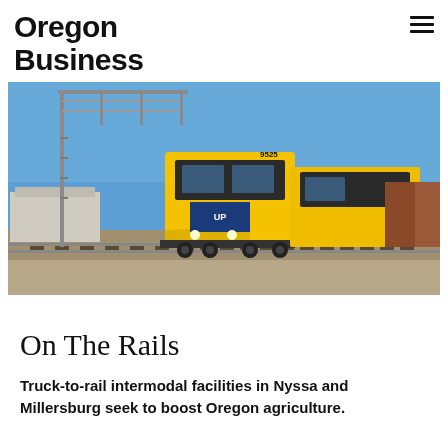Oregon Business
[Figure (photo): A yellow Union Pacific locomotive (number 9525) pulling a freight train along railroad tracks, passing under a metal signal gantry structure. Clear blue sky in the background with industrial buildings visible to the left.]
On The Rails
Truck-to-rail intermodal facilities in Nyssa and Millersburg seek to boost Oregon agriculture.